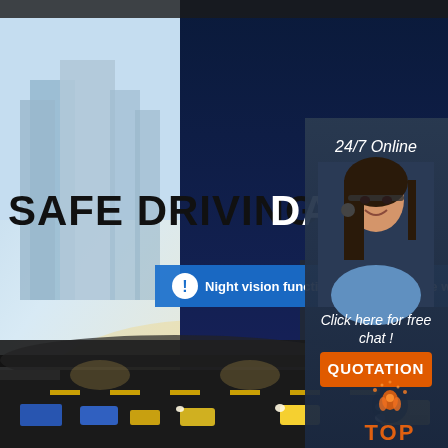[Figure (photo): Split image: left side shows daytime city with tall buildings and highway traffic; right side shows nighttime city with illuminated highway and traffic. Large bold text overlay reads 'SAFE DRIVING DAY AN' (cut off). A blue banner with warning icon reads 'Night vision function is only available with yello' (cut off). Top right sidebar shows '24/7 Online' text, female customer service agent with headset, 'Click here for free chat!' text, and an orange QUOTATION button. Bottom right shows 'TOP' logo in orange.]